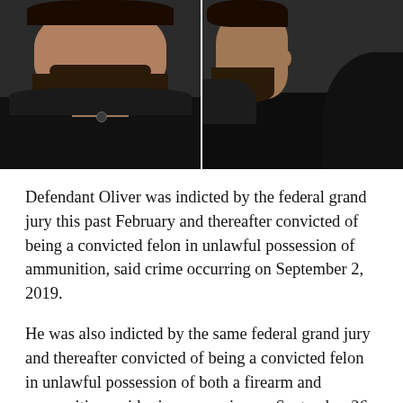[Figure (photo): Two side-by-side mugshot-style photographs of a man wearing a black hoodie. Left photo shows a front-facing view; right photo shows a side/profile view. Both images have dark backgrounds.]
Defendant Oliver was indicted by the federal grand jury this past February and thereafter convicted of being a convicted felon in unlawful possession of ammunition, said crime occurring on September 2, 2019.
He was also indicted by the same federal grand jury and thereafter convicted of being a convicted felon in unlawful possession of both a firearm and ammunition, said crime occurring on September 26, 2019.
Unlike state prison sentences where many state inmates are given early release credits of up to 50% against the overall sentence imposed, a federal inmate